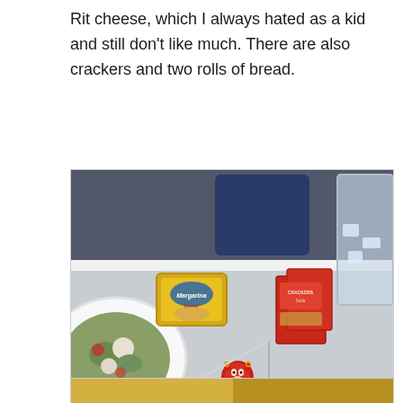Rit cheese, which I always hated as a kid and still don't like much. There are also crackers and two rolls of bread.
[Figure (photo): Photo of airline meal tray showing a Laughing Cow cheese triangle, a Loncherita/Rancherita butter packet, red cracker packets, a bowl of salad, and a glass with ice, on a gray tray table.]
[Figure (photo): Bottom portion of another food photo, partially visible, showing a yellow/golden colored item.]